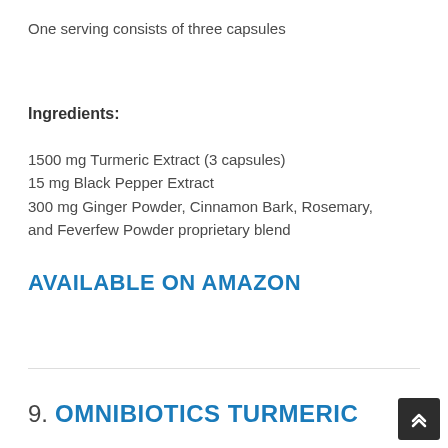One serving consists of three capsules
Ingredients:
1500 mg Turmeric Extract (3 capsules)
15 mg Black Pepper Extract
300 mg Ginger Powder, Cinnamon Bark, Rosemary, and Feverfew Powder proprietary blend
AVAILABLE ON AMAZON
9. OMNIBIOTICS TURMERIC